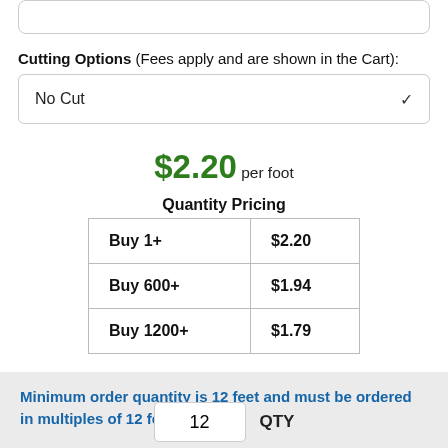Cutting Options (Fees apply and are shown in the Cart):
No Cut
$2.20 per foot
Quantity Pricing
|  |  |
| --- | --- |
| Buy 1+ | $2.20 |
| Buy 600+ | $1.94 |
| Buy 1200+ | $1.79 |
Minimum order quantity is 12 feet and must be ordered in multiples of 12 feet.
12  QTY